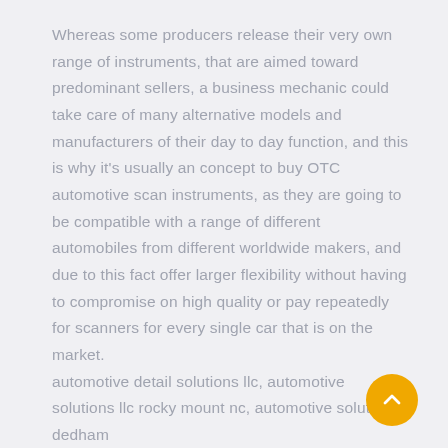Whereas some producers release their very own range of instruments, that are aimed toward predominant sellers, a business mechanic could take care of many alternative models and manufacturers of their day to day function, and this is why it’s usually an concept to buy OTC automotive scan instruments, as they are going to be compatible with a range of different automobiles from different worldwide makers, and due to this fact offer larger flexibility without having to compromise on high quality or pay repeatedly for scanners for every single car that is on the market.
automotive detail solutions llc, automotive solutions llc rocky mount nc, automotive solutions dedham
When something’s wrong with the automated transmission, car owners are typically clueless about it. This should not be the case. The explosive growth of W based mostly digital advertising by auto dealers has been